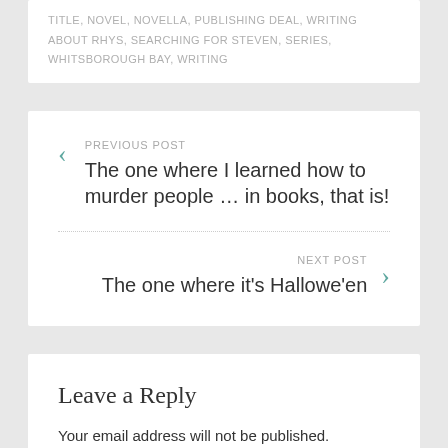TITLE, NOVEL, NOVELLA, PUBLISHING DEAL, WRITING ABOUT RHYS, SEARCHING FOR STEVEN, SERIES, WHITSBOROUGH BAY, WRITING
PREVIOUS POST
The one where I learned how to murder people … in books, that is!
NEXT POST
The one where it's Hallowe'en
Leave a Reply
Your email address will not be published. Required fields are marked *